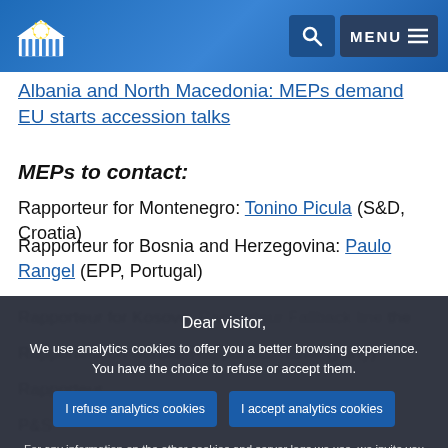European Parliament header with logo, search and menu
Albania and North Macedonia: MEPs demand EU starts accession talks
MEPs to contact:
Rapporteur for Montenegro: Tonino Picula (S&D, Croatia)
Rapporteur for Bosnia and Herzegovina: Paulo Rangel (EPP, Portugal)
Cookie consent overlay: Dear visitor, We use analytics cookies to offer you a better browsing experience. You have the choice to refuse or accept them. I refuse analytics cookies | I accept analytics cookies. For any information on the other cookies and server logs we use, we invite you to read our data protection policy, our cookies policy and our cookies inventory.